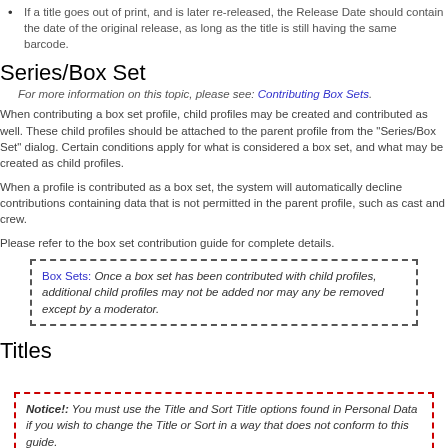If a title goes out of print, and is later re-released, the Release Date should contain the date of the original release, as long as the title is still having the same barcode.
Series/Box Set
For more information on this topic, please see: Contributing Box Sets.
When contributing a box set profile, child profiles may be created and contributed as well. These child profiles should be attached to the parent profile from the "Series/Box Set" dialog. Certain conditions apply for what is considered a box set, and what may be created as child profiles.
When a profile is contributed as a box set, the system will automatically decline contributions containing data that is not permitted in the parent profile, such as cast and crew.
Please refer to the box set contribution guide for complete details.
Box Sets: Once a box set has been contributed with child profiles, additional child profiles may not be added nor may any be removed except by a moderator.
Titles
Notice!: You must use the Title and Sort Title options found in Personal Data if you wish to change the Title or Sort in a way that does not conform to this guide.